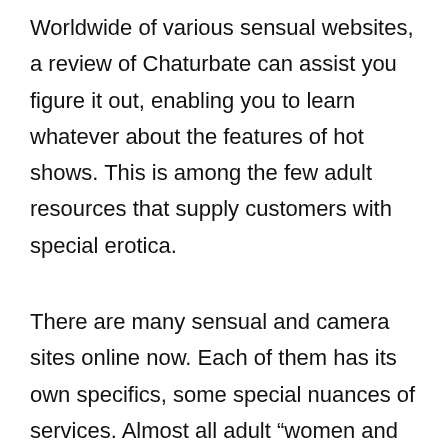Worldwide of various sensual websites, a review of Chaturbate can assist you figure it out, enabling you to learn whatever about the features of hot shows. This is among the few adult resources that supply customers with special erotica.
There are many sensual and camera sites online now. Each of them has its own specifics, some special nuances of services. Almost all adult “women and boys” need to understand these functions.